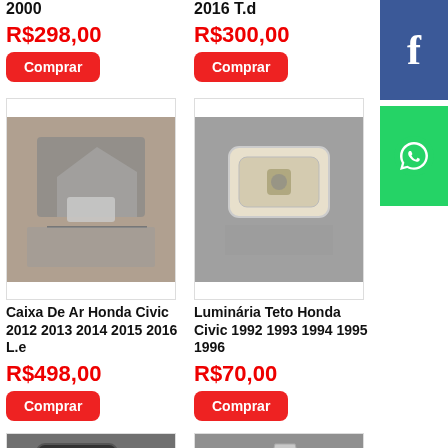2000
R$298,00
Comprar
2016 T.d
R$300,00
Comprar
[Figure (photo): Honda Civic air box part, metallic, on floor]
Caixa De Ar Honda Civic 2012 2013 2014 2015 2016 L.e
R$498,00
Comprar
[Figure (photo): Honda Civic ceiling light / dome light, beige/cream plastic]
Luminária Teto Honda Civic 1992 1993 1994 1995 1996
R$70,00
Comprar
[Figure (photo): Black plastic automotive part, possibly a reservoir or actuator]
[Figure (photo): Silver/chrome automotive trim or pillar part]